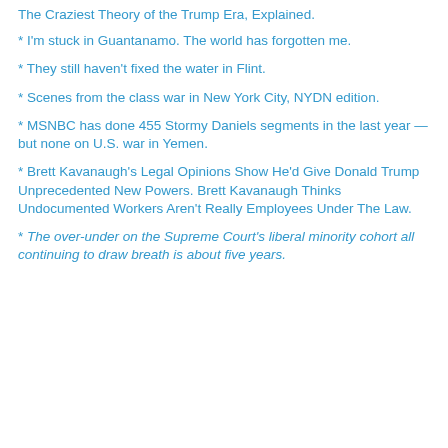The Craziest Theory of the Trump Era, Explained.
* I'm stuck in Guantanamo. The world has forgotten me.
* They still haven't fixed the water in Flint.
* Scenes from the class war in New York City, NYDN edition.
* MSNBC has done 455 Stormy Daniels segments in the last year — but none on U.S. war in Yemen.
* Brett Kavanaugh's Legal Opinions Show He'd Give Donald Trump Unprecedented New Powers. Brett Kavanaugh Thinks Undocumented Workers Aren't Really Employees Under The Law.
* The over-under on the Supreme Court's liberal minority cohort all continuing to draw breath is about five years.